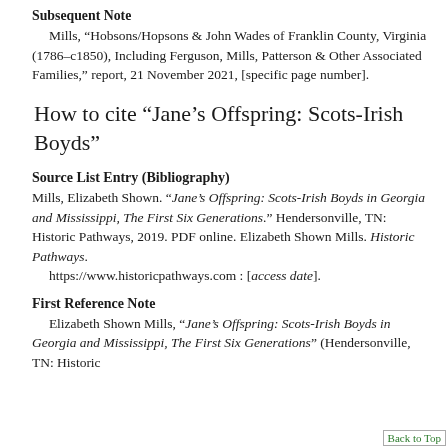Subsequent Note
Mills, “Hobsons/Hopsons & John Wades of Franklin County, Virginia (1786–c1850), Including Ferguson, Mills, Patterson & Other Associated Families,” report, 21 November 2021, [specific page number].
How to cite “Jane’s Offspring: Scots-Irish Boyds”
Source List Entry (Bibliography)
Mills, Elizabeth Shown. “Jane’s Offspring: Scots-Irish Boyds in Georgia and Mississippi, The First Six Generations.” Hendersonville, TN: Historic Pathways, 2019. PDF online. Elizabeth Shown Mills. Historic Pathways. https://www.historicpathways.com : [access date].
First Reference Note
Elizabeth Shown Mills, “Jane’s Offspring: Scots-Irish Boyds in Georgia and Mississippi, The First Six Generations” (Hendersonville, TN: Historic